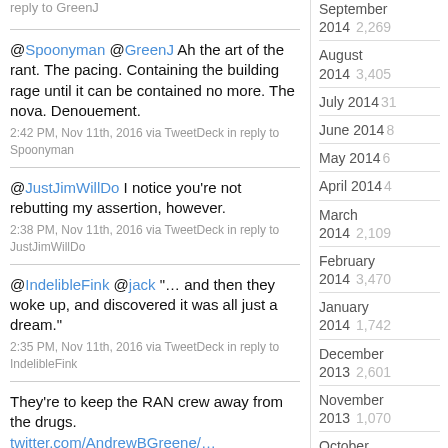reply to GreenJ
@Spoonyman @GreenJ Ah the art of the rant. The pacing. Containing the building rage until it can be contained no more. The nova. Denouement.
2:42 PM, Nov 11th, 2016 via TweetDeck in reply to Spoonyman
@JustJimWillDo I notice you're not rebutting my assertion, however.
2:38 PM, Nov 11th, 2016 via TweetDeck in reply to JustJimWillDo
@IndelibleFink @jack "… and then they woke up, and discovered it was all just a dream."
2:35 PM, Nov 11th, 2016 via TweetDeck in reply to IndelibleFink
They're to keep the RAN crew away from the drugs. twitter.com/AndrewBGreene/…
September 2014 2,269
August 2014 3,405
July 2014 [31]
June 2014 [8]
May 2014 [6]
April 2014 [4]
March 2014 2,109
February 2014 3,470
January 2014 1,742
December 2013 2,601
November 2013 1,070
October 2013 2,855
September 2013 906